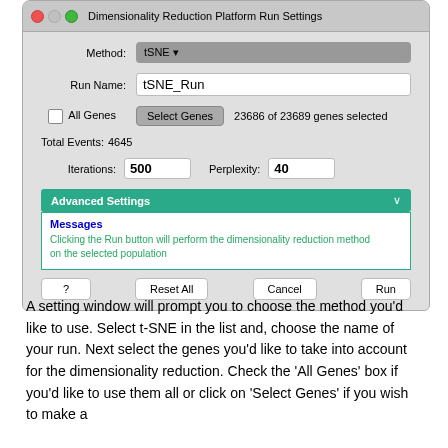[Figure (screenshot): macOS dialog window titled 'Dimensionality Reduction Platform Run Settings' showing fields: Method (tSNE dropdown), Run Name (tSNE_Run), All Genes checkbox, Select Genes button (23686 of 23689 genes selected), Total Events: 4645, Iterations: 500, Perplexity: 40, Advanced Settings bar (teal), Messages box with green text about Run button, and buttons: ?, Reset All, Cancel, Run.]
A setting window will prompt you to choose the method you'd like to use. Select t-SNE in the list and, choose the name of your run. Next select the genes you'd like to take into account for the dimensionality reduction. Check the 'All Genes' box if you'd like to use them all or click on 'Select Genes' if you wish to make a